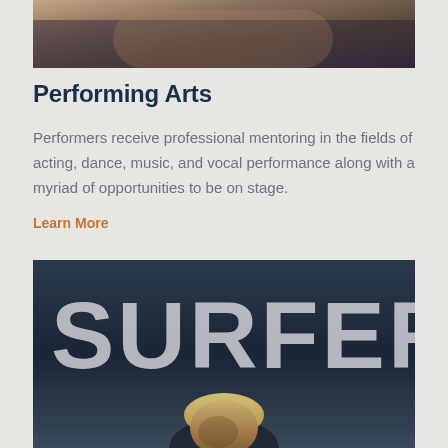[Figure (photo): Partial top image showing performers, cropped at top of page]
Performing Arts
Performers receive professional mentoring in the fields of acting, dance, music, and vocal performance along with a myriad of opportunities to be on stage.
Learn More
[Figure (photo): SURFER magazine cover image with large bold text 'SURFER' overlaid on dark background with surfer's head visible at bottom]